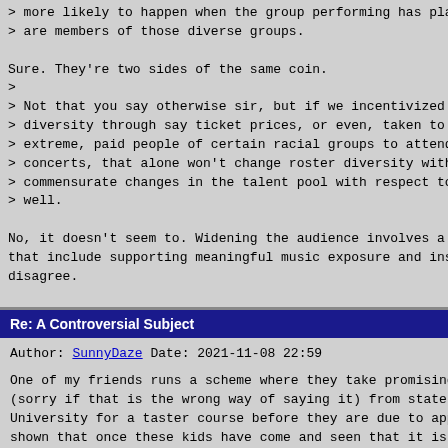> more likely to happen when the group performing has playe
> are members of those diverse groups.

Sure. They're two sides of the same coin.
>
> Not that you say otherwise sir, but if we incentivized aud
> diversity through say ticket prices, or even, taken to its
> extreme, paid people of certain racial groups to attend
> concerts, that alone won't change roster diversity without
> commensurate changes in the talent pool with respect to ra
> well.

No, it doesn't seem to. Widening the audience involves a muc
that include supporting meaningful music exposure and instru
disagree.

Karl
Re: A Controversial Subject
Author:  SunnyDaze
Date:    2021-11-08 22:59
One of my friends runs a scheme where they take promising Af
(sorry if that is the wrong way of saying it) from state sch
University for a taster course before they are due to apply
shown that once these kids have come and seen that it is a n
are more likely to apply. A large part of the problem of get
top flight Universities has been that those kids don't apply
friendly course is really making a big impact.